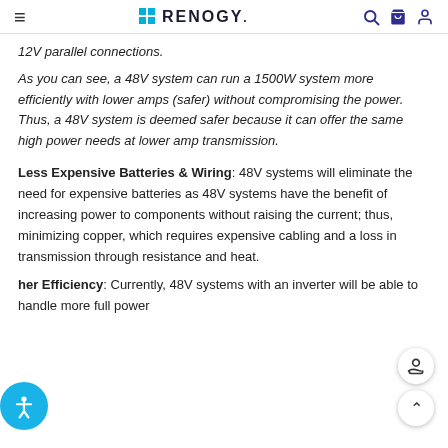RENOGY
12V parallel connections.
As you can see, a 48V system can run a 1500W system more efficiently with lower amps (safer) without compromising the power. Thus, a 48V system is deemed safer because it can offer the same high power needs at lower amp transmission.
Less Expensive Batteries & Wiring: 48V systems will eliminate the need for expensive batteries as 48V systems have the benefit of increasing power to components without raising the current; thus, minimizing copper, which requires expensive cabling and a loss in transmission through resistance and heat.
her Efficiency: Currently, 48V systems with an inverter will be able to handle more full power